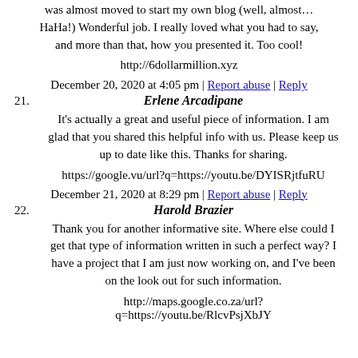was almost moved to start my own blog (well, almost… HaHa!) Wonderful job. I really loved what you had to say, and more than that, how you presented it. Too cool!
http://6dollarmillion.xyz
December 20, 2020 at 4:05 pm | Report abuse | Reply
21. Erlene Arcadipane
It's actually a great and useful piece of information. I am glad that you shared this helpful info with us. Please keep us up to date like this. Thanks for sharing.
https://google.vu/url?q=https://youtu.be/DYISRjtfuRU
December 21, 2020 at 8:29 pm | Report abuse | Reply
22. Harold Brazier
Thank you for another informative site. Where else could I get that type of information written in such a perfect way? I have a project that I am just now working on, and I've been on the look out for such information.
http://maps.google.co.za/url?
q=https://youtu.be/RlcvPsjXbJY